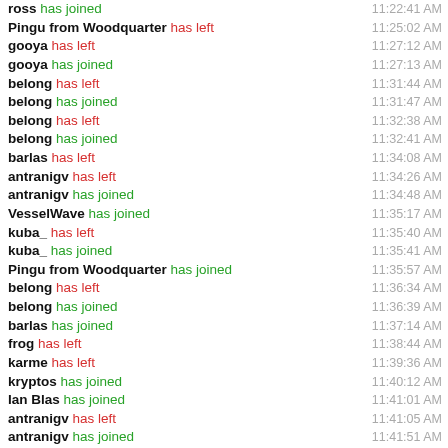ross has joined 11:22:41 AM
Pingu from Woodquarter has left 11:25:02 AM
gooya has left 11:27:12 AM
gooya has joined 11:27:13 AM
belong has left 11:31:44 AM
belong has joined 11:31:47 AM
belong has left 11:32:38 AM
belong has joined 11:32:41 AM
barlas has left 11:34:08 AM
antranigv has left 11:34:26 AM
antranigv has joined 11:34:48 AM
VesselWave has joined 11:35:17 AM
kuba_ has left 11:35:40 AM
kuba_ has joined 11:35:41 AM
Pingu from Woodquarter has joined 11:35:57 AM
belong has left 11:36:34 AM
belong has joined 11:36:39 AM
barlas has joined 11:37:14 AM
frog has left 11:38:44 AM
karme has left 11:39:36 AM
kryptos has joined 11:40:12 AM
Ian Blas has joined 11:41:01 AM
antranigv has left 11:41:05 AM
antranigv has joined 11:41:51 AM
belong has left 11:42:20 AM